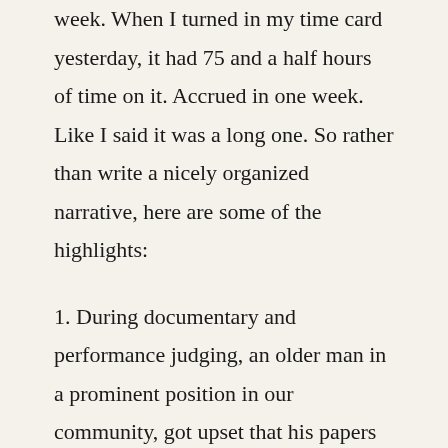week. When I turned in my time card yesterday, it had 75 and a half hours of time on it. Accrued in one week. Like I said it was a long one. So rather than write a nicely organized narrative, here are some of the highlights:
1. During documentary and performance judging, an older man in a prominent position in our community, got upset that his papers were not handed to him in a “proper” order, stood up, crossed his arms and faced the corner of the room until we